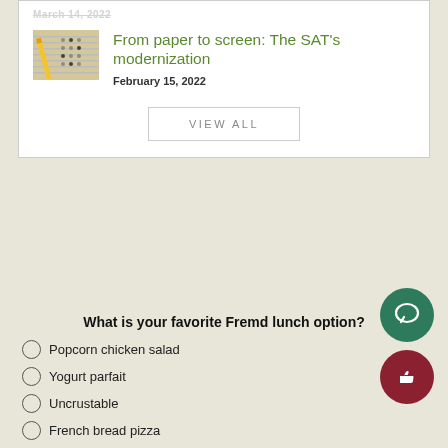March 14, 2022
[Figure (photo): Photo of a scantron exam sheet with a pencil]
From paper to screen: The SAT's modernization
February 15, 2022
VIEW ALL
What is your favorite Fremd lunch option?
Popcorn chicken salad
Yogurt parfait
Uncrustable
French bread pizza